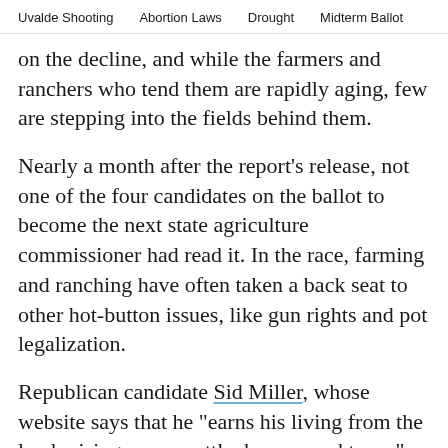Uvalde Shooting   Abortion Laws   Drought   Midterm Ballot
on the decline, and while the farmers and ranchers who tend them are rapidly aging, few are stepping into the fields behind them.
Nearly a month after the report’s release, not one of the four candidates on the ballot to become the next state agriculture commissioner had read it. In the race, farming and ranching have often taken a back seat to other hot-button issues, like gun rights and pot legalization.
Republican candidate Sid Miller, whose website says that he “earns his living from the land raising crops, cattle, horses, and trees,” said he has been too busy campaigning to read the latest report about the state of agriculture in Texas.
“I have this project I’ve been busy working on for the last few months,” he joked, referring to the runoff